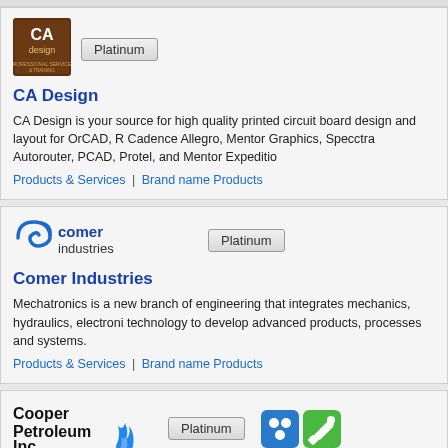[Figure (logo): CA Design logo - brown square with 'CA design' text]
Platinum
CA Design
CA Design is your source for high quality printed circuit board design and layout for OrCAD, R Cadence Allegro, Mentor Graphics, Specctra Autorouter, PCAD, Protel, and Mentor Expeditio
Products & Services | Brand name Products
[Figure (logo): Comer Industries logo - blue swirl icon with 'comer industries' text]
Platinum
Comer Industries
Mechatronics is a new branch of engineering that integrates mechanics, hydraulics, electroni technology to develop advanced products, processes and systems.
Products & Services | Brand name Products
[Figure (logo): Cooper Petroleum Inc logo with flame icon]
Platinum
[Figure (logo): Two small icon buttons - blue dots icon and green wrench icon]
Cooper Petroleum Inc